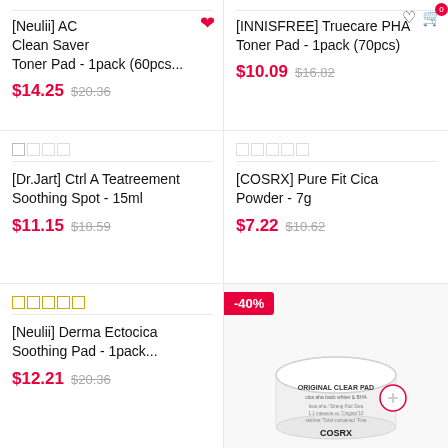[Figure (screenshot): Product listing grid showing Korean beauty products with sale prices]
[Neulii] AC Clean Saver Toner Pad - 1pack (60pcs...
$14.25  $20.36
[INNISFREE] Truecare PHA Toner Pad - 1pack (70pcs)
$10.09  $16.82
[Dr.Jart] Ctrl A Teatreement Soothing Spot - 15ml
$11.15  $18.59
[COSRX] Pure Fit Cica Powder - 7g
$7.22  $10.62
[Neulii] Derma Ectocica Soothing Pad - 1pack...
$12.21  $20.36
-40%